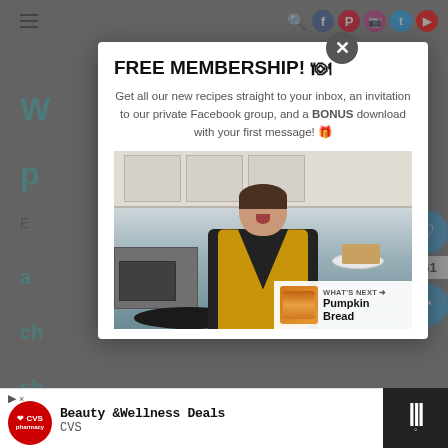[Figure (screenshot): Website screenshot showing a popup modal overlay on a food/recipe blog. The modal contains a 'FREE MEMBERSHIP!' headline with an emoji, descriptive text about getting recipes and Facebook group access, a video thumbnail of a woman in a kitchen holding food, a 'What's Next: Pumpkin Bread' video overlay, and a close button. Background shows teal-colored blog text and social media icons. Bottom shows a CVS 'Beauty & Wellness Deals' advertisement bar.]
FREE MEMBERSHIP! 🍽
Get all our new recipes straight to your inbox, an invitation to our private Facebook group, and a BONUS download with your first message! 🎁
WHAT'S NEXT → Pumpkin Bread
Beauty & Wellness Deals
CVS